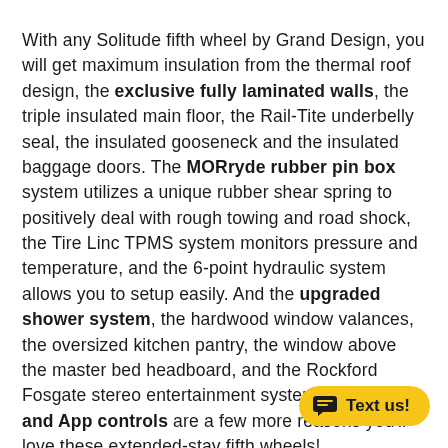With any Solitude fifth wheel by Grand Design, you will get maximum insulation from the thermal roof design, the exclusive fully laminated walls, the triple insulated main floor, the Rail-Tite underbelly seal, the insulated gooseneck and the insulated baggage doors. The MORryde rubber pin box system utilizes a unique rubber shear spring to positively deal with rough towing and road shock, the Tire Linc TPMS system monitors pressure and temperature, and the 6-point hydraulic system allows you to setup easily. And the upgraded shower system, the hardwood window valances, the oversized kitchen pantry, the window above the master bed headboard, and the Rockford Fosgate stereo entertainment system with HDMI and App controls are a few more reasons you'll love these extended-stay fifth wheels!